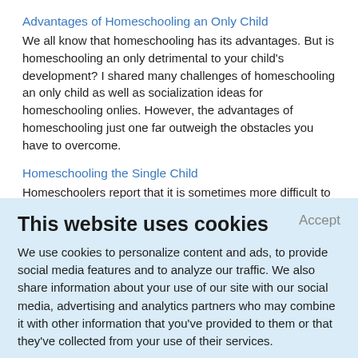Advantages of Homeschooling an Only Child
We all know that homeschooling has its advantages. But is homeschooling an only detrimental to your child's development? I shared many challenges of homeschooling an only child as well as socialization ideas for homeschooling onlies. However, the advantages of homeschooling just one far outweigh the obstacles you have to overcome.
Homeschooling the Single Child
Homeschoolers report that it is sometimes more difficult to
This website uses cookies
Accept
We use cookies to personalize content and ads, to provide social media features and to analyze our traffic. We also share information about your use of our site with our social media, advertising and analytics partners who may combine it with other information that you've provided to them or that they've collected from your use of their services.
Learn More.
homeschooling their child at least once during their child's